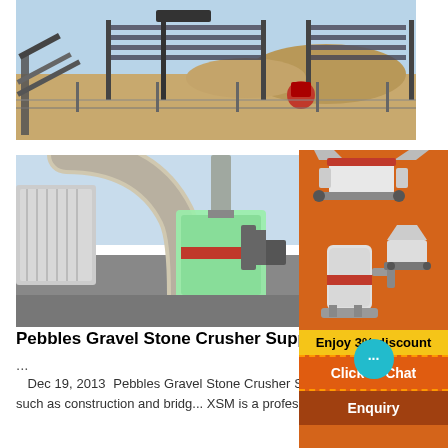[Figure (photo): Outdoor mining/quarry screening and crushing equipment on sandy/desert terrain with conveyor belts and metal framework structures under blue sky]
[Figure (photo): Industrial stone crusher and dust collection equipment with large pipes and silos, industrial facility]
Pebbles Gravel Stone Crusher Supplie...
...
Dec 19, 2013  Pebbles Gravel Stone Crusher S... Pebbles and gravel rock stones can be processed... further utilization, such as construction and bridg... XSM is a professional machine from China and we...
[Figure (infographic): Orange sidebar advertisement showing stone crusher machinery images with 'Enjoy 3% discount', 'Click to Chat' button with cyan chat bubble, and 'Enquiry' button]